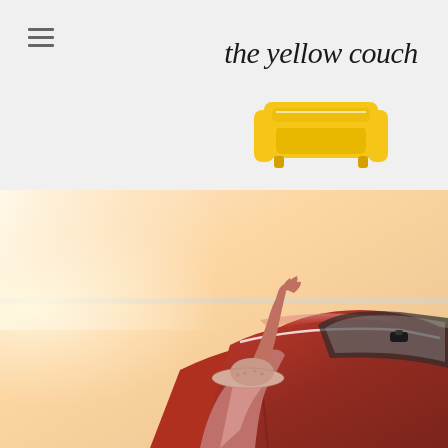the yellow couch
[Figure (logo): The Yellow Couch blog logo: cursive handwritten text 'the yellow couch' above a bright yellow sofa/couch illustration]
[Figure (photo): A person wearing a pink hat and dress leaning out of a vintage red convertible car with arm raised, against a warm sunset sky background]